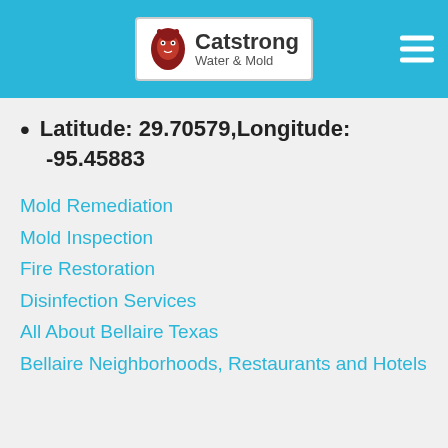Catstrong Water & Mold
Latitude: 29.70579,Longitude: -95.45883
Mold Remediation
Mold Inspection
Fire Restoration
Disinfection Services
All About Bellaire Texas
Bellaire Neighborhoods, Restaurants and Hotels